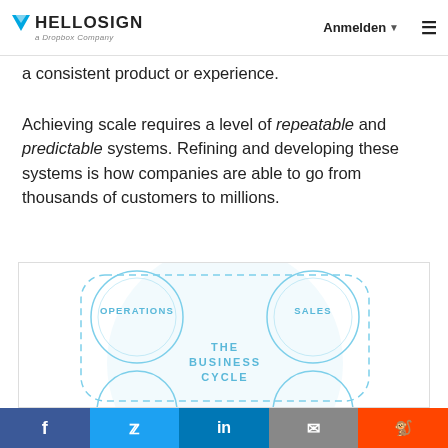HelloSign — a Dropbox Company | Anmelden
a consistent product or experience.
Achieving scale requires a level of repeatable and predictable systems. Refining and developing these systems is how companies are able to go from thousands of customers to millions.
[Figure (infographic): Business cycle diagram showing interconnected circles labeled OPERATIONS and SALES at top, with THE BUSINESS CYCLE text in the center, and additional circles partially visible at the bottom. A large dashed rounded rectangle connects all elements. Light blue color scheme with a large faded circle in the background.]
Social share bar: Facebook, Twitter, LinkedIn, Email, Reddit